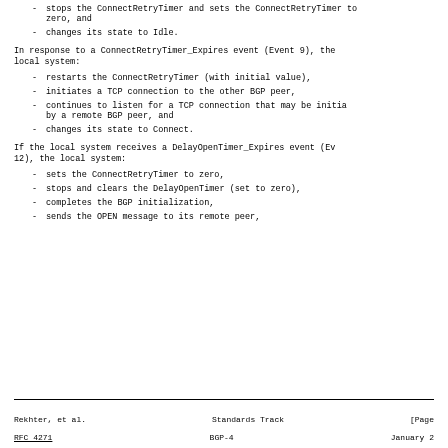- stops the ConnectRetryTimer and sets the ConnectRetryTimer to zero, and
- changes its state to Idle.
In response to a ConnectRetryTimer_Expires event (Event 9), the local system:
- restarts the ConnectRetryTimer (with initial value),
- initiates a TCP connection to the other BGP peer,
- continues to listen for a TCP connection that may be initiated by a remote BGP peer, and
- changes its state to Connect.
If the local system receives a DelayOpenTimer_Expires event (Event 12), the local system:
- sets the ConnectRetryTimer to zero,
- stops and clears the DelayOpenTimer (set to zero),
- completes the BGP initialization,
- sends the OPEN message to its remote peer,
Rekhter, et al.    Standards Track    [Page
RFC 4271    BGP-4    January 2